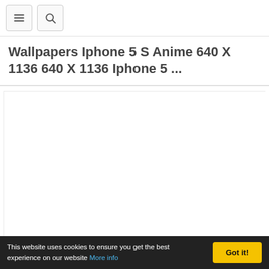☰ 🔍
Wallpapers Iphone 5 S Anime 640 X 1136 640 X 1136 Iphone 5 ...
[Figure (other): White/blank content area placeholder]
This website uses cookies to ensure you get the best experience on our website More info  Got it!